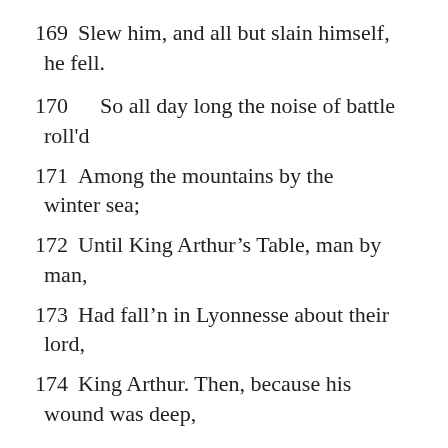169    Slew him, and all but slain himself, he fell.
170        So all day long the noise of battle roll'd
171    Among the mountains by the winter sea;
172    Until King Arthur’s Table, man by man,
173    Had fall’n in Lyonnesse about their lord,
174    King Arthur. Then, because his wound was deep,